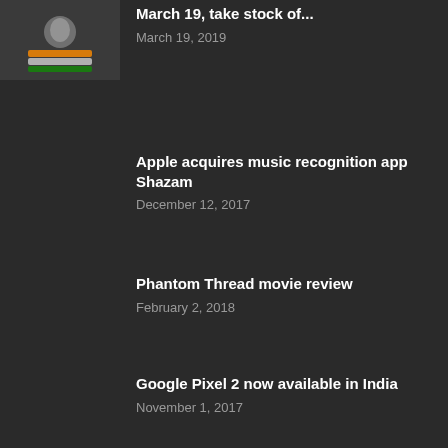[Figure (photo): India election commission logo thumbnail]
March 19, take stock of...
March 19, 2019
Apple acquires music recognition app Shazam
December 12, 2017
Phantom Thread movie review
February 2, 2018
Google Pixel 2 now available in India
November 1, 2017